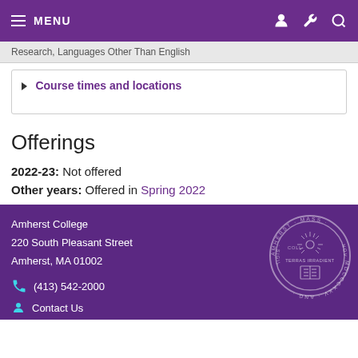MENU
Research, Languages Other Than English
▶ Course times and locations
Offerings
2022-23: Not offered
Other years: Offered in Spring 2022
Amherst College
220 South Pleasant Street
Amherst, MA 01002
(413) 542-2000
Contact Us